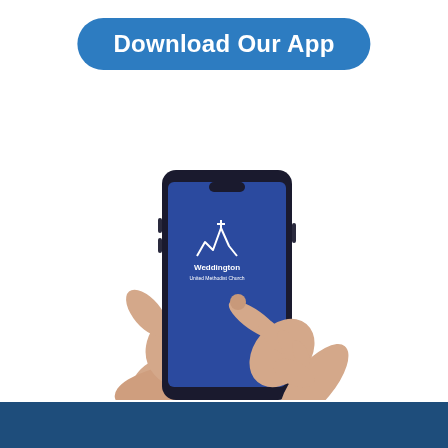Download Our App
[Figure (illustration): A hand holding a smartphone with a blue screen displaying the Weddington United Methodist Church logo and name, with another hand tapping the screen from below.]